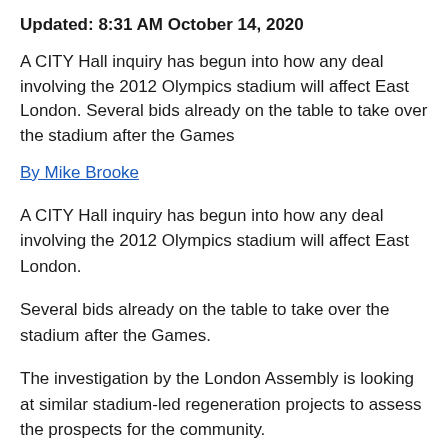Updated: 8:31 AM October 14, 2020
A CITY Hall inquiry has begun into how any deal involving the 2012 Olympics stadium will affect East London. Several bids already on the table to take over the stadium after the Games
By Mike Brooke
A CITY Hall inquiry has begun into how any deal involving the 2012 Olympics stadium will affect East London.
Several bids already on the table to take over the stadium after the Games.
The investigation by the London Assembly is looking at similar stadium-led regeneration projects to assess the prospects for the community.